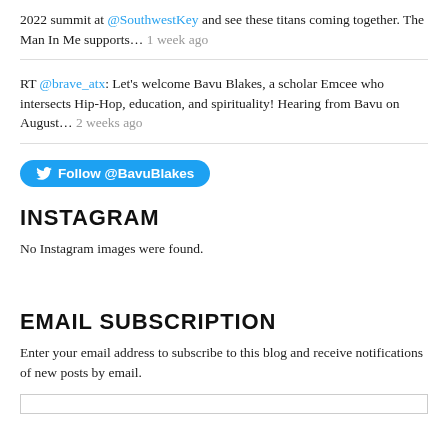2022 summit at @SouthwestKey and see these titans coming together. The Man In Me supports… 1 week ago
RT @brave_atx: Let's welcome Bavu Blakes, a scholar Emcee who intersects Hip-Hop, education, and spirituality! Hearing from Bavu on August… 2 weeks ago
Follow @BavuBlakes
INSTAGRAM
No Instagram images were found.
EMAIL SUBSCRIPTION
Enter your email address to subscribe to this blog and receive notifications of new posts by email.